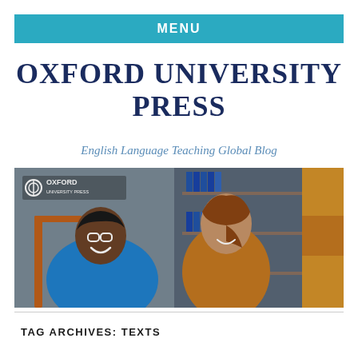MENU
OXFORD UNIVERSITY PRESS
English Language Teaching Global Blog
[Figure (photo): Two students smiling in a library setting. On the left, a young man wearing glasses and a blue t-shirt. In the center, a young woman wearing a yellow/mustard sweater leaning against bookshelves. On the right, another person in a yellow sweater with arms crossed. Oxford University Press logo visible in the top-left corner of the image.]
TAG ARCHIVES: TEXTS